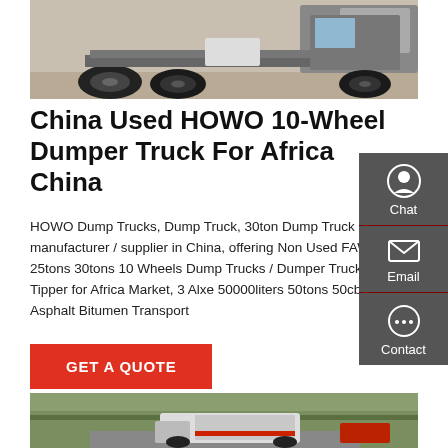[Figure (photo): Rear view of a HOWO heavy-duty truck chassis with large tires on a concrete surface]
China Used HOWO 10-Wheel Dumper Truck For Africa China
HOWO Dump Trucks, Dump Truck, 30ton Dump Truck manufacturer / supplier in China, offering Non Used FAW 25tons 30tons 10 Wheels Dump Trucks / Dumper Truck / Tipper for Africa Market, 3 Alxe 50000liters 50tons 50cbm Asphalt Bitumen Transport
GET A QUOTE
[Figure (photo): A white dump truck on a mountainous road with trees and a red vehicle in background]